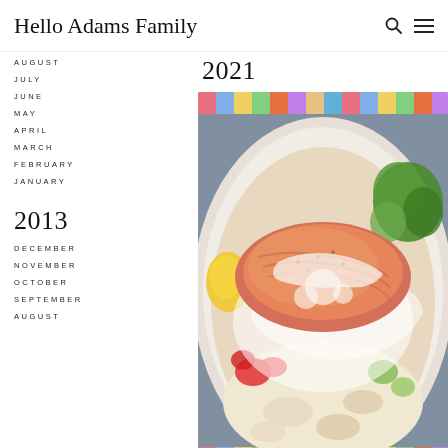Hello Adams Family
2021
AUGUST
JULY
JUNE
MAY
APRIL
MARCH
FEBRUARY
JANUARY
2013
DECEMBER
NOVEMBER
OCTOBER
SEPTEMBER
AUGUST
[Figure (photo): A bowl of salmon salad with cream sauce, greens, corn, tomatoes, and pasta/tortellini on a colorful striped cloth background]